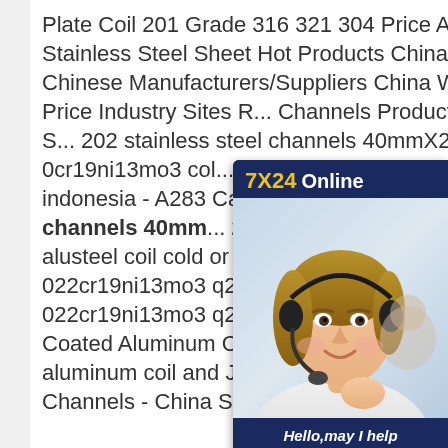Plate Coil 201 Grade 316 321 304 Price Austenitic 4X8 Stainless Steel Sheet Hot Products China Products Chinese Manufacturers/Suppliers China W... Wholesale Price Industry Sites R... Channels Product Index Mobile S... 202 stainless steel channels 40mmX20mm 0cr19ni13mo3 col... prepainted coil. 0Cr19Ni13Mo3 s... to indonesia - A283 Carbon Steel... stainless steel channels 40mm... 200mmX100mm HXB OCr18Ni1... alusteel coil cold or coated form C... steel. 022cr19ni13mo3 q215cold or coils coated 022cr19ni13mo3 q215cold or coils coated neighbors4trail Coated Aluminum Coils Doped aluminum coil is made from aluminum coil and JIS Standard Steel Channels/Steel Channels - China Steel
[Figure (other): Customer service chat widget with '7X24 Online' header in dark blue, a photo of a smiling woman with a headset, 'Hello,may I help you?' text, and a 'Get Latest Price' yellow button.]